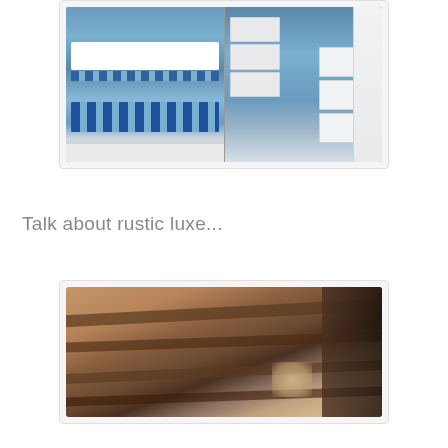[Figure (photo): Two-panel photo showing a built-in bunk bed with blue and white striped bedding in a blue-painted room (left panel) and a close-up of the bunk bed's ladder and drawer storage unit (right panel)]
Talk about rustic luxe...
[Figure (photo): Interior photo showing rustic wooden roof beams/rafters viewed from below, with dark structural elements against lighter wood paneling, and some items visible below]